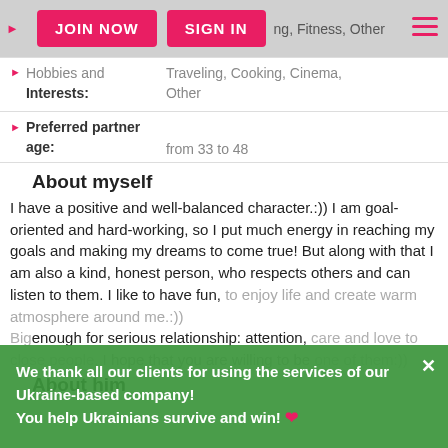JOIN NOW  SIGN IN  ng, Fitness, Other
Hobbies and Interests: Traveling, Cooking, Cinema, Other
Preferred partner age: from 33 to 48
About myself
I have a positive and well-balanced character.:)) I am goal-oriented and hard-working, so I put much energy in reaching my goals and making my dreams to come true! But along with that I am also a kind, honest person, who respects others and can listen to them. I like to have fun, to enjoy life and create warm atmosphere around me.:)) Big enough for serious relationship: attention, care and love to close people. I hope that you are willing to be one of them:))
About him
We thank all our clients for using the services of our Ukraine-based company! You help Ukrainians survive and win! ❤